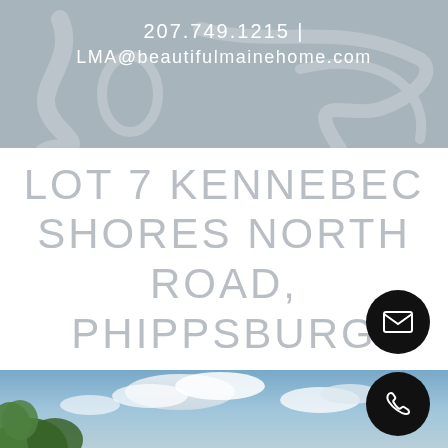207.749.1215 | LMA@beautifulmainehome.com
LOT 7 KENNEBEC SHORES NORTH ROAD, PHIPPSBURG
[Figure (photo): Outdoor sky photo with blue sky, clouds, and green tree foliage in lower left corner]